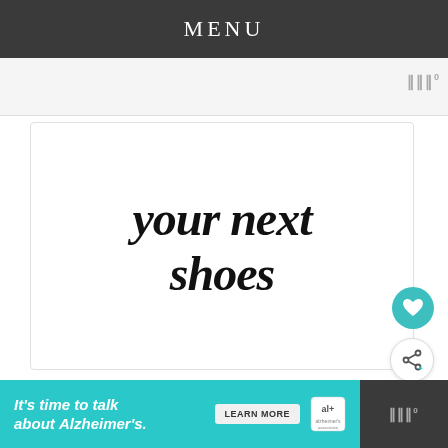MENU
[Figure (screenshot): White card with large bold italic serif text reading 'your next shoes', with teal heart button and share button overlaid at bottom right]
your next shoes
It's time to talk about Alzheimer's.
LEARN MORE